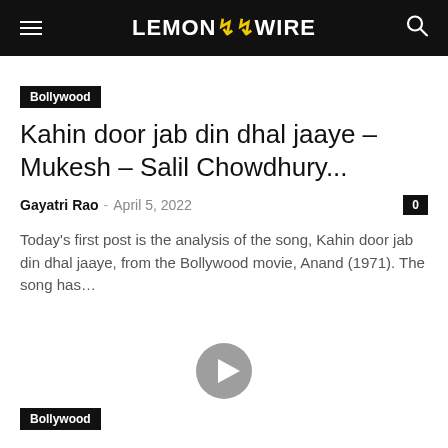LEMON ZZ WIRE
Bollywood
Kahin door jab din dhal jaaye – Mukesh – Salil Chowdhury...
Gayatri Rao – April 5, 2022
Today's first post is the analysis of the song, Kahin door jab din dhal jaaye, from the Bollywood movie, Anand (1971). The song has...
[Figure (other): Video play button icon]
Bollywood